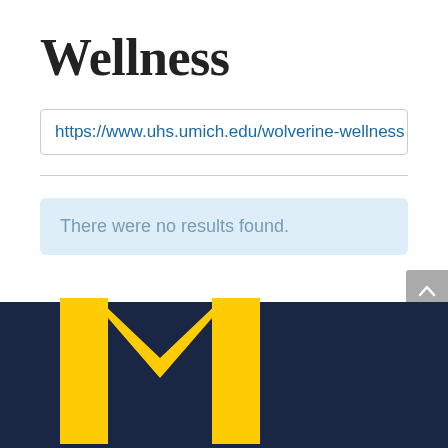Wellness
https://www.uhs.umich.edu/wolverine-wellness
There were no results found.
[Figure (logo): University of Michigan block M logo in gold on dark navy background]